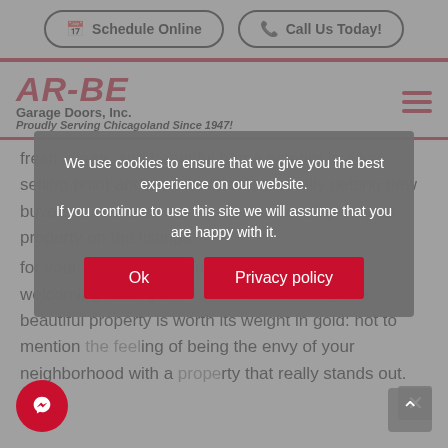Schedule Online   Call Us Today!
[Figure (logo): AR-BE Garage Doors, Inc. logo with tagline 'Proudly Serving Chicagoland Since 1947!']
fresh, clean, and beautiful home exterior is a key selling point and an essential for actually getting new buyers to make an inquiry, not just scroll past your property on the listings.
for your own property pride; the relaxing and welcoming feeling that comes with looking at a beautiful property is worth its weight in gold; not to mention the feeling of being the envy of your neighborhood with a property that really stands out.
We use cookies to ensure that we give you the best experience on our website. If you continue to use this site we will assume that you are happy with it.
Ok   Privacy policy